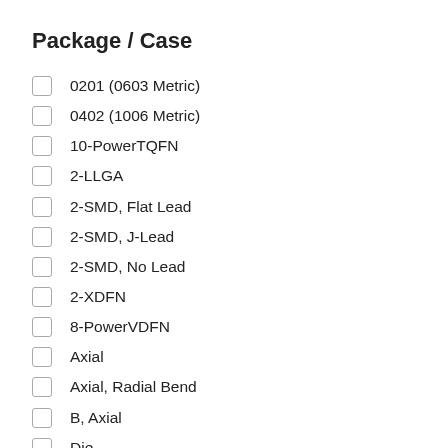Package / Case
0201 (0603 Metric)
0402 (1006 Metric)
10-PowerTQFN
2-LLGA
2-SMD, Flat Lead
2-SMD, J-Lead
2-SMD, No Lead
2-XDFN
8-PowerVDFN
Axial
Axial, Radial Bend
B, Axial
Die